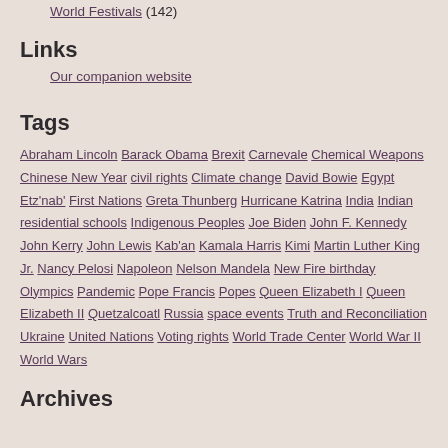World Festivals (142)
Links
Our companion website
Tags
Abraham Lincoln Barack Obama Brexit Carnevale Chemical Weapons Chinese New Year civil rights Climate change David Bowie Egypt Etz'nab' First Nations Greta Thunberg Hurricane Katrina India Indian residential schools Indigenous Peoples Joe Biden John F. Kennedy John Kerry John Lewis Kab'an Kamala Harris Kimi Martin Luther King Jr. Nancy Pelosi Napoleon Nelson Mandela New Fire birthday Olympics Pandemic Pope Francis Popes Queen Elizabeth I Queen Elizabeth II Quetzalcoatl Russia space events Truth and Reconciliation Ukraine United Nations Voting rights World Trade Center World War II World Wars
Archives